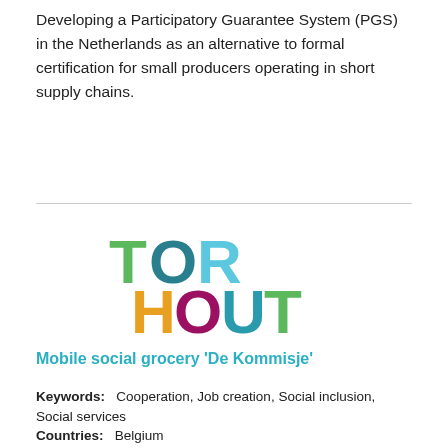Developing a Participatory Guarantee System (PGS) in the Netherlands as an alternative to formal certification for small producers operating in short supply chains.
[Figure (logo): TORHOUT levende stad logo with colorful letters: T in green, O in teal, R in light blue, H in orange, O in dark red/maroon, U in teal, T in green, and tagline 'levende stad' in gray]
Mobile social grocery 'De Kommisje'
Keywords: Cooperation, Job creation, Social inclusion, Social services
Countries: Belgium